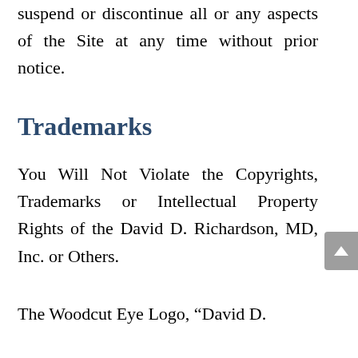suspend or discontinue all or any aspects of the Site at any time without prior notice.
Trademarks
You Will Not Violate the Copyrights, Trademarks or Intellectual Property Rights of the David D. Richardson, MD, Inc. or Others.
The Woodcut Eye Logo, “David D.